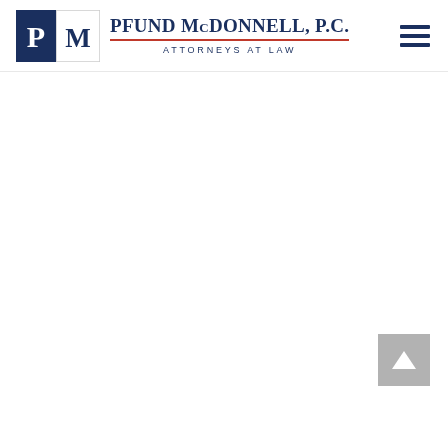PFUND McDONNELL, P.C. ATTORNEYS AT LAW
[Figure (logo): Pfund McDonnell P.C. law firm logo with stylized P and M letters, firm name and tagline 'ATTORNEYS AT LAW', plus hamburger navigation menu icon and back-to-top button]